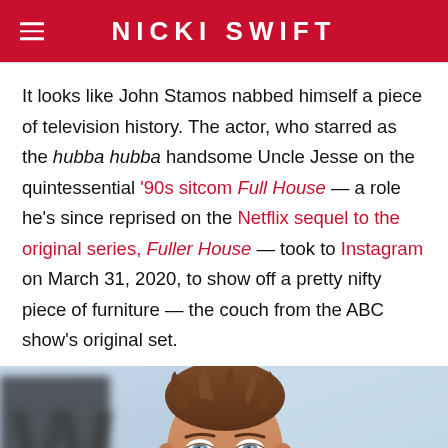NICKI SWIFT
It looks like John Stamos nabbed himself a piece of television history. The actor, who starred as the hubba hubba handsome Uncle Jesse on the quintessential '90s sitcom Full House — a role he's since reprised on the Netflix sequel to the original series, Fuller House — took to Instagram on March 31, 2020, to show off a pretty nifty piece of furniture — the couch from the ABC show's original set.
[Figure (photo): Close-up photo of a man with short brown hair and light eyes against a blurred background]